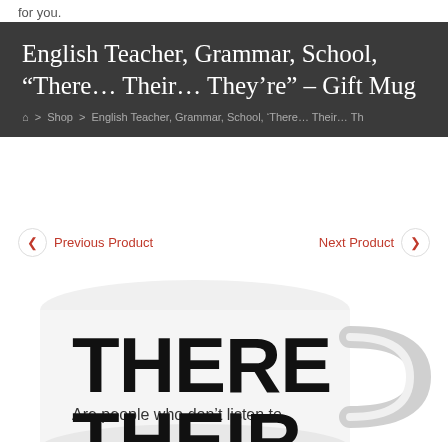for you.
English Teacher, Grammar, School, “There… Their… They’re” – Gift Mug
⌂ > Shop > English Teacher, Grammar, School, ‘There… Their… Th
Previous Product
Next Product
[Figure (photo): White ceramic mug with large bold text reading THERE and smaller text below reading 'Are people who don’t listen to', bottom cut off showing partial text THEIR]